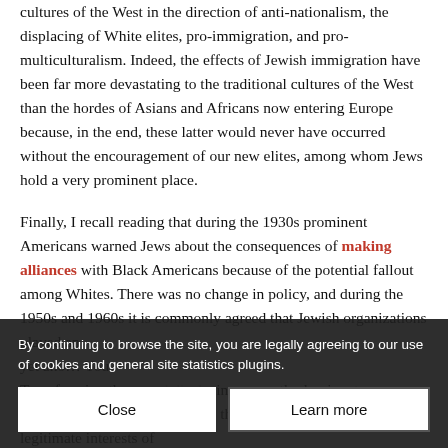cultures of the West in the direction of anti-nationalism, the displacing of White elites, pro-immigration, and pro-multiculturalism. Indeed, the effects of Jewish immigration have been far more devastating to the traditional cultures of the West than the hordes of Asians and Africans now entering Europe because, in the end, these latter would never have occurred without the encouragement of our new elites, among whom Jews hold a very prominent place.
Finally, I recall reading that during the 1930s prominent Americans warned Jews about the consequences of making alliances with Black Americans because of the potential fallout among Whites. There was no change in policy, and during the 1950s and 1960s it is commonly agreed that Jewish organizations played an yet ano... Transforming th... nce and displacing currently dominant popu... redibly aggressive policies that obviously compromise the legitimate interests of
By continuing to browse the site, you are legally agreeing to our use of cookies and general site statistics plugins.